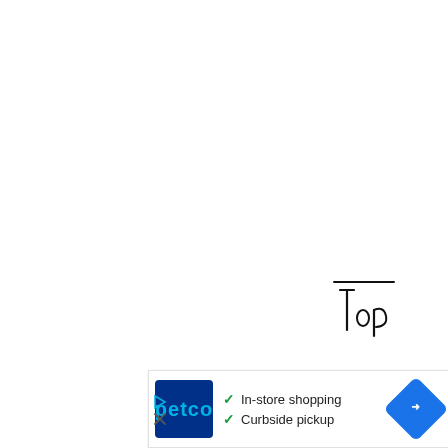[Figure (illustration): Handwritten cursive word 'Top' with a horizontal line above it, in black ink]
[Figure (infographic): Petco advertisement banner showing Petco logo with dark blue background, checkmarks next to 'In-store shopping' and 'Curbside pickup', and a blue navigation/directions diamond icon on the right. Play and X close icons on the left edge.]